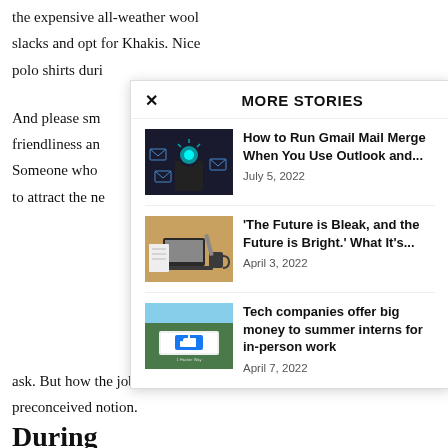the expensive all-weather wool slacks and opt for Khakis. Nice polo shirts duri
And please sm friendliness an Someone who to attract the ne
During
Older job seeke they experienc the interviewers ask. But how the job seeker feels may not be reality; it may be a preconceived notion.
[Figure (screenshot): MORE STORIES overlay panel with three article entries: 1) How to Run Gmail Mail Merge When You Use Outlook and... (July 5, 2022), 2) 'The Future is Bleak, and the Future is Bright.' What It's... (April 3, 2022), 3) Tech companies offer big money to summer interns for in-person work (April 7, 2022)]